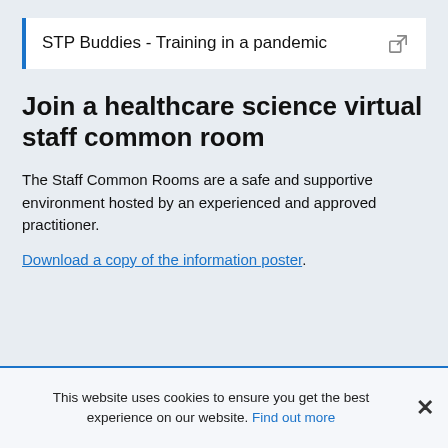STP Buddies - Training in a pandemic
Join a healthcare science virtual staff common room
The Staff Common Rooms are a safe and supportive environment hosted by an experienced and approved practitioner.
Download a copy of the information poster.
This website uses cookies to ensure you get the best experience on our website. Find out more